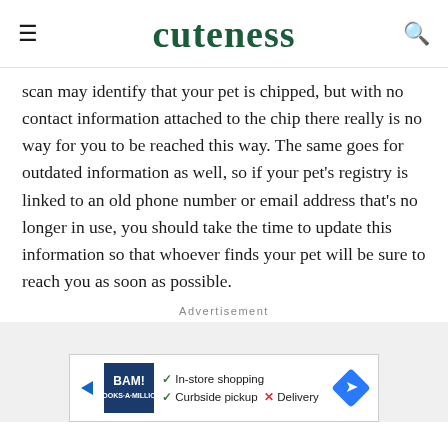cuteness
scan may identify that your pet is chipped, but with no contact information attached to the chip there really is no way for you to be reached this way. The same goes for outdated information as well, so if your pet's registry is linked to an old phone number or email address that's no longer in use, you should take the time to update this information so that whoever finds your pet will be sure to reach you as soon as possible.
Advertisement
[Figure (other): Advertisement banner for BAM! Books-A-Million showing in-store shopping with checkmark, curbside pickup with checkmark, and delivery with X mark, alongside a navigation arrow diamond icon.]